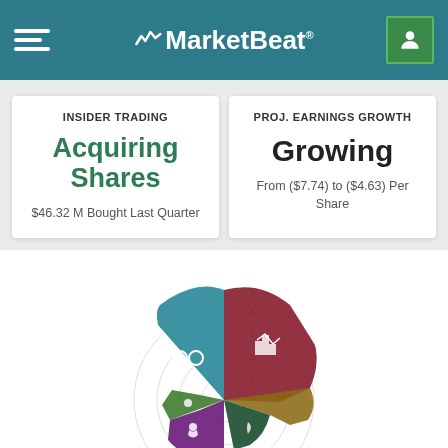MarketBeat
INSIDER TRADING
Acquiring Shares
$46.32 M Bought Last Quarter
PROJ. EARNINGS GROWTH
Growing
From ($7.74) to ($4.63) Per Share
[Figure (radar-chart): Radar/spider chart showing multiple financial metrics as wedge segments in different colors (teal, dark red, green, purple, dark green, brown). Concentric circular gridlines labeled 1-4 visible. Icons visible within segments including glasses icon and bar chart icon.]